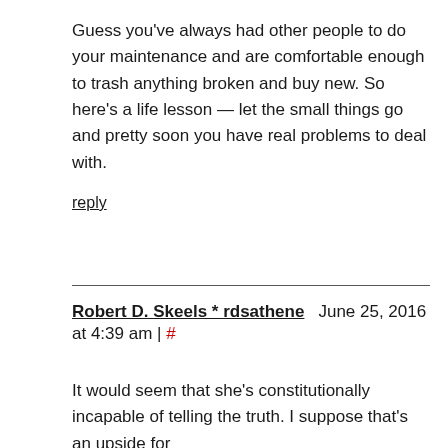Guess you've always had other people to do your maintenance and are comfortable enough to trash anything broken and buy new. So here's a life lesson — let the small things go and pretty soon you have real problems to deal with.
reply
Robert D. Skeels * rdsathene   June 25, 2016 at 4:39 am | #
It would seem that she's constitutionally incapable of telling the truth. I suppose that's an upside for